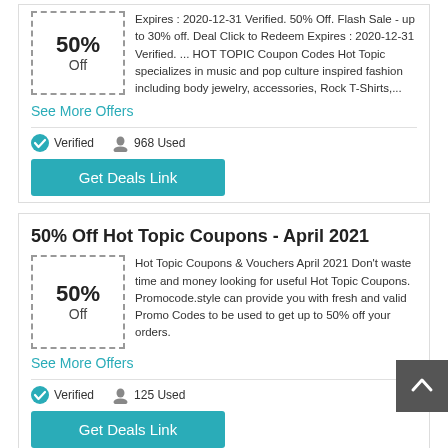[Figure (other): Coupon box showing 50% Off with dashed border]
Expires : 2020-12-31 Verified. 50% Off. Flash Sale - up to 30% off. Deal Click to Redeem Expires : 2020-12-31 Verified. ... HOT TOPIC Coupon Codes Hot Topic specializes in music and pop culture inspired fashion including body jewelry, accessories, Rock T-Shirts,...
See More Offers
Verified   968 Used
Get Deals Link
50% Off Hot Topic Coupons - April 2021
[Figure (other): Coupon box showing 50% Off with dashed border]
Hot Topic Coupons & Vouchers April 2021 Don't waste time and money looking for useful Hot Topic Coupons. Promocode.style can provide you with fresh and valid Promo Codes to be used to get up to 50% off your orders.
See More Offers
Verified   125 Used
Get Deals Link